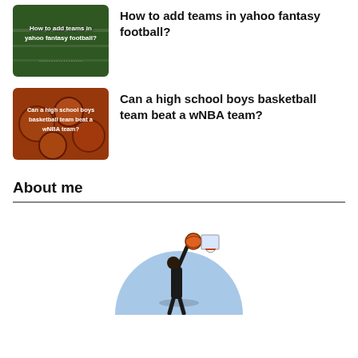[Figure (photo): Thumbnail of a football field with text overlay: How to add teams in yahoo fantasy football?]
How to add teams in yahoo fantasy football?
[Figure (photo): Thumbnail of basketballs with text overlay: Can a high school boys basketball team beat a wNBA team?]
Can a high school boys basketball team beat a wNBA team?
About me
[Figure (photo): Semicircular photo of a basketball player shooting into a hoop against a blue sky background]